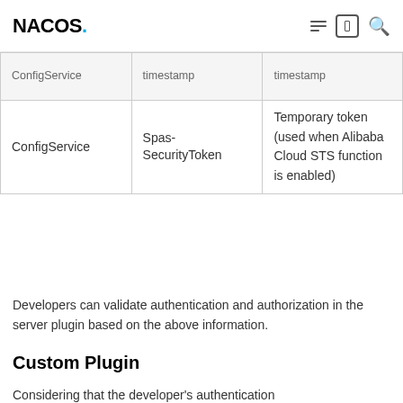NACOS.
| ConfigService | timestamp | timestamp |
| --- | --- | --- |
| ConfigService | Spas-SecurityToken | Temporary token (used when Alibaba Cloud STS function is enabled) |
Developers can validate authentication and authorization in the server plugin based on the above information.
Custom Plugin
Considering that the developer's authentication